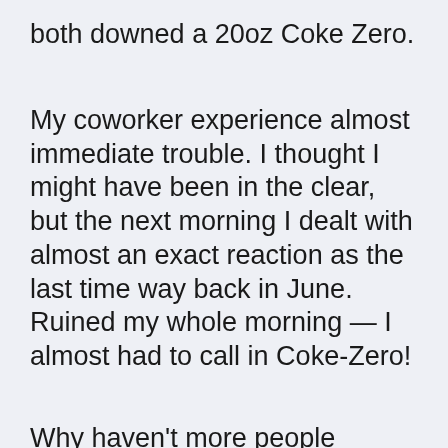both downed a 20oz Coke Zero.
My coworker experience almost immediate trouble. I thought I might have been in the clear, but the next morning I dealt with almost an exact reaction as the last time way back in June. Ruined my whole morning — I almost had to call in Coke-Zero!
Why haven't more people noticed this? Why isn't this a bigger deal?